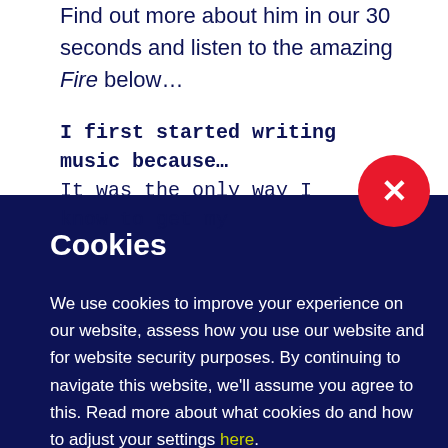Find out more about him in our 30 seconds and listen to the amazing Fire below…
I first started writing music because… It was the only way I know to get my
Cookies
We use cookies to improve your experience on our website, assess how you use our website and for website security purposes. By continuing to navigate this website, we'll assume you agree to this. Read more about what cookies do and how to adjust your settings here.